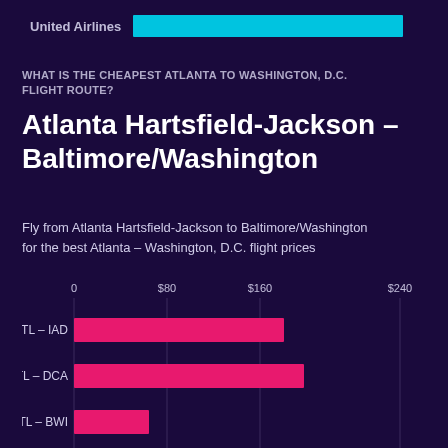[Figure (bar-chart): United Airlines]
WHAT IS THE CHEAPEST ATLANTA TO WASHINGTON, D.C. FLIGHT ROUTE?
Atlanta Hartsfield-Jackson – Baltimore/Washington
Fly from Atlanta Hartsfield-Jackson to Baltimore/Washington for the best Atlanta – Washington, D.C. flight prices
[Figure (bar-chart): Flight routes from Atlanta to Washington D.C.]